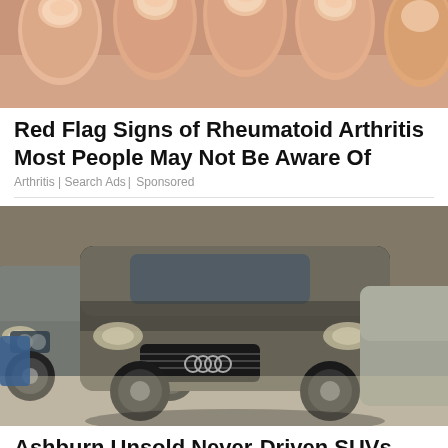[Figure (photo): Close-up photo of human fingernails/fingers from above, skin tones of peach and beige]
Red Flag Signs of Rheumatoid Arthritis Most People May Not Be Aware Of
Arthritis | Search Ads | Sponsored
[Figure (photo): Multiple SUVs and luxury cars covered in thick dust/ash parked in a row indoors, including a dark Audi Q7 in the foreground and a BMW X5 behind it]
Ashburn Unsold Never-Driven SUVs Now